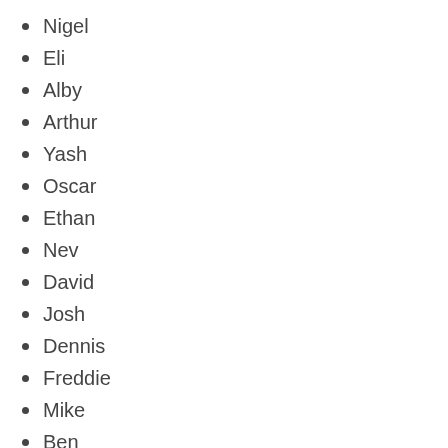Nigel
Eli
Alby
Arthur
Yash
Oscar
Ethan
Nev
David
Josh
Dennis
Freddie
Mike
Ben
Carter